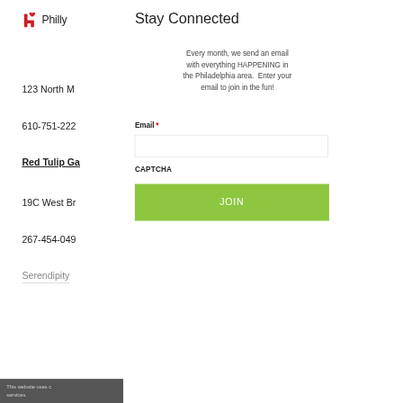[Figure (logo): hi Philly logo with stylized red 'h' and heart/diamond icon, followed by 'Philly' text]
Stay Connected
Every month, we send an email with everything HAPPENING in the Philadelphia area.  Enter your email to join in the fun!
123 North M
610-751-222
Red Tulip Ga
19C West Br
267-454-049
Serendipity
Email *
CAPTCHA
JOIN
This website uses c services.